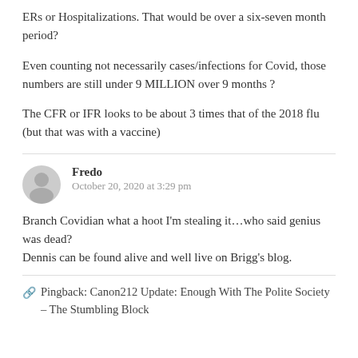ERs or Hospitalizations. That would be over a six-seven month period?
Even counting not necessarily cases/infections for Covid, those numbers are still under 9 MILLION over 9 months ?
The CFR or IFR looks to be about 3 times that of the 2018 flu (but that was with a vaccine)
Fredo
October 20, 2020 at 3:29 pm
Branch Covidian what a hoot I'm stealing it…who said genius was dead?
Dennis can be found alive and well live on Brigg's blog.
Pingback: Canon212 Update: Enough With The Polite Society – The Stumbling Block